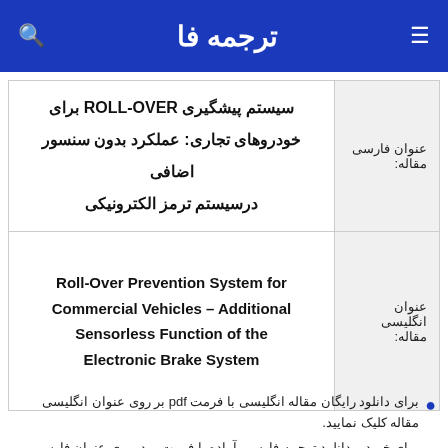ترجمه فا
| عنوان فارسی مقاله | محتوا |
| --- | --- |
| عنوان فارسی مقاله: | سیستم پیشگیری ROLL-OVER برای خودروهای تجاری: عملکرد بدون سنسور اضافی درسیستم ترمز الکترونیکی |
| عنوان انگلیسی مقاله: | Roll-Over Prevention System for Commercial Vehicles – Additional Sensorless Function of the Electronic Brake System |
برای دانلود رایگان مقاله انگلیسی با فرمت pdf بر روی عنوان انگلیسی مقاله کلیک نمایید.
برای خرید و دانلود ترجمه فارسی آماده با فرمت ورد، روی عنوان فارسی مقاله